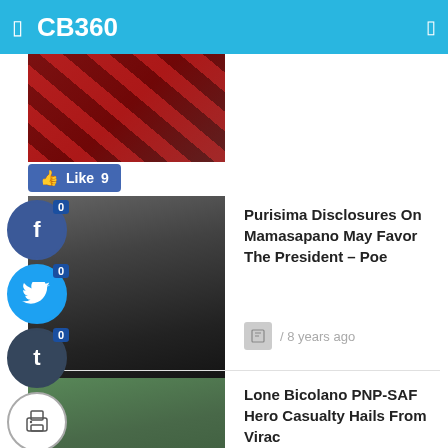CB360
[Figure (screenshot): Screenshot of CB360 news app showing social sharing sidebar with Facebook, Twitter, Tumblr icons with 0 counts, print and email buttons, 0 Shares, back arrow, and two news articles with thumbnails]
Purisima Disclosures On Mamasapano May Favor The President – Poe
/ 8 years ago
Lone Bicolano PNP-SAF Hero Casualty Hails From Virac
/ 8 years ago